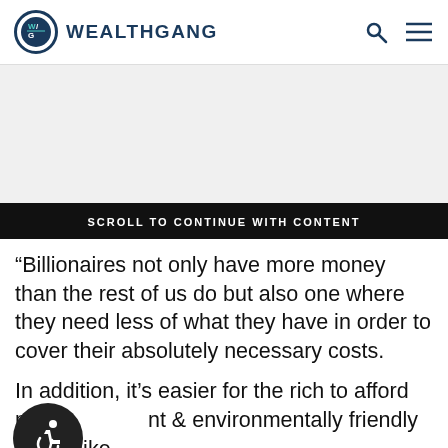WEALTHGANG
[Figure (other): Advertisement placeholder area]
SCROLL TO CONTINUE WITH CONTENT
“Billionaires not only have more money than the rest of us do but also one where they need less of what they have in order to cover their absolutely necessary costs.
In addition, it’s easier for the rich to afford more [efficient] & environmentally friendly things like [solar] panels, electric cars, and high-efficiency insulation, windows, and other building [materials].
[Figure (illustration): Accessibility icon - wheelchair user symbol in a dark circle]